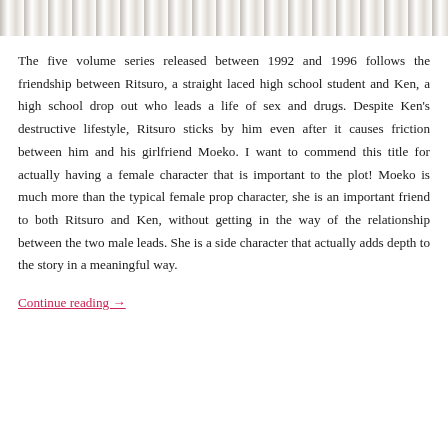[Figure (photo): Partial image strip at top of page showing a textured brown/tan surface, cropped to a horizontal band]
The five volume series released between 1992 and 1996 follows the friendship between Ritsuro, a straight laced high school student and Ken, a high school drop out who leads a life of sex and drugs. Despite Ken's destructive lifestyle, Ritsuro sticks by him even after it causes friction between him and his girlfriend Moeko. I want to commend this title for actually having a female character that is important to the plot! Moeko is much more than the typical female prop character, she is an important friend to both Ritsuro and Ken, without getting in the way of the relationship between the two male leads. She is a side character that actually adds depth to the story in a meaningful way.
Continue reading →